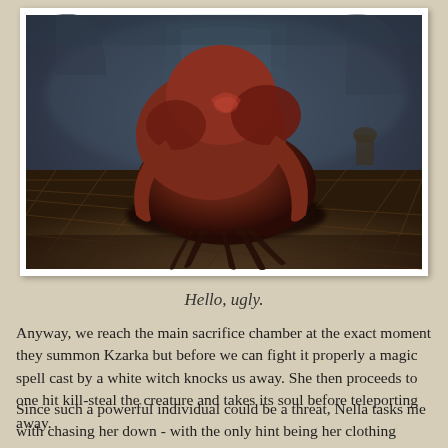[Figure (photo): Screenshot from a dark fantasy video game showing a large grotesque creature crouching on a stone floor in a dimly lit chamber. The creature is reddish-brown and muscular with a monstrous form. The environment is dark and foggy with stone architecture visible in the background.]
Hello, ugly.
Anyway, we reach the main sacrifice chamber at the exact moment they summon Kzarka but before we can fight it properly a magic spell cast by a white witch knocks us away. She then proceeds to one hit kill-steal the creature and takes its soul before teleporting away.
Since such a powerful individual could be a threat, Nella tasks me with chasing her down - with the only hint being her clothing resembling that worn in the Eastern lands of